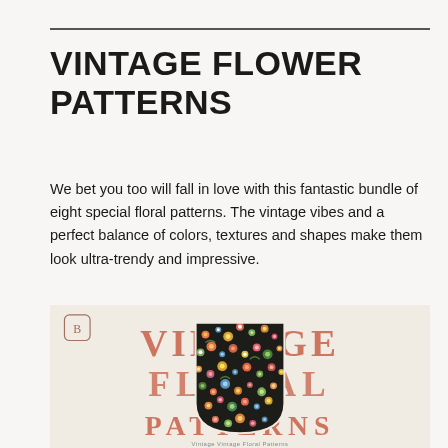VINTAGE FLOWER PATTERNS
We bet you too will fall in love with this fantastic bundle of eight special floral patterns. The vintage vibes and a perfect balance of colors, textures and shapes make them look ultra-trendy and impressive.
[Figure (illustration): Vintage Floral Patterns product image showing decorative text 'VINTAGE FLORAL PATTERNS' with an arch-shaped floral pattern inset featuring colorful vintage flowers on dark background, on a cream/beige background with a small B logo icon in the top left corner.]